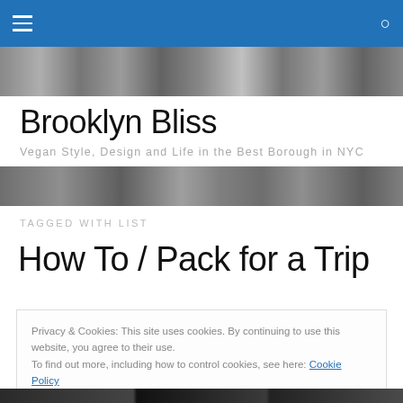Brooklyn Bliss — navigation bar with hamburger menu and search icon
[Figure (photo): Stone/gravel texture header band image]
Brooklyn Bliss
Vegan Style, Design and Life in the Best Borough in NYC
[Figure (photo): Stone/gravel texture second header band image]
TAGGED WITH LIST
How To / Pack for a Trip
Privacy & Cookies: This site uses cookies. By continuing to use this website, you agree to their use.
To find out more, including how to control cookies, see here: Cookie Policy
Close and accept
[Figure (photo): Bottom partial photo strip of dark clothing/bags]